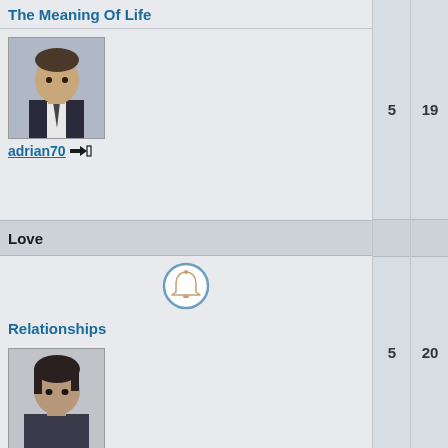The Meaning Of Life
[Figure (photo): Profile photo of user adrian70 - man in suit]
adrian70 →□
Love
[Figure (illustration): Notification/bell icon in a circle]
Relationships
[Figure (photo): Profile photo of user kir0s - young man]
kir0s →□